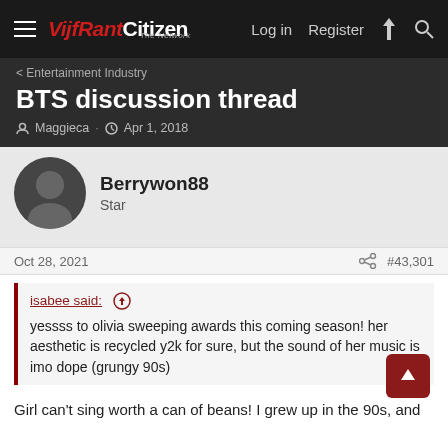VijfRant Citizen — Log in | Register
Entertainment Industry
BTS discussion thread
Maggieca · Apr 1, 2018
Berrywon88
Star
Oct 28, 2021  #43,301
isabee said: ↑
yessss to olivia sweeping awards this coming season! her aesthetic is recycled y2k for sure, but the sound of her music is imo dope (grungy 90s)
Girl can't sing worth a can of beans! I grew up in the 90s, and